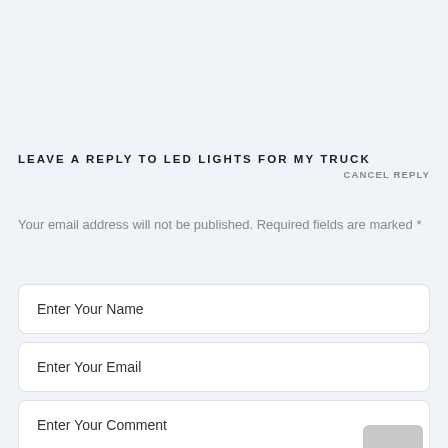LEAVE A REPLY TO LED LIGHTS FOR MY TRUCK
CANCEL REPLY
Your email address will not be published. Required fields are marked *
Enter Your Name
Enter Your Email
Enter Your Comment